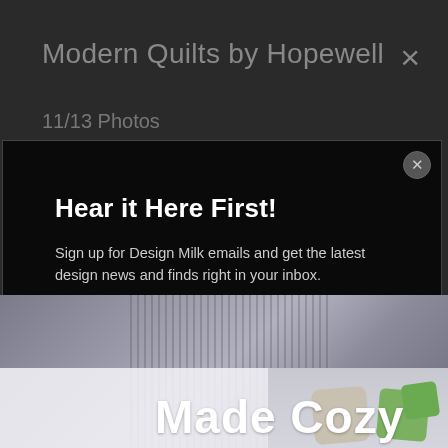Modern Quilts by Hopewell
11/13 Photos
Hear it Here First!
Sign up for Design Milk emails and get the latest design news and finds right in your inbox.
Enter your email address...
SIGN UP
Not right now.
[Figure (photo): Bottom portion of a website screenshot showing a 'Made Cozy' advertisement with decorative pillows and cushions in the lower right corner, over a grey striped background.]
Made Cozy